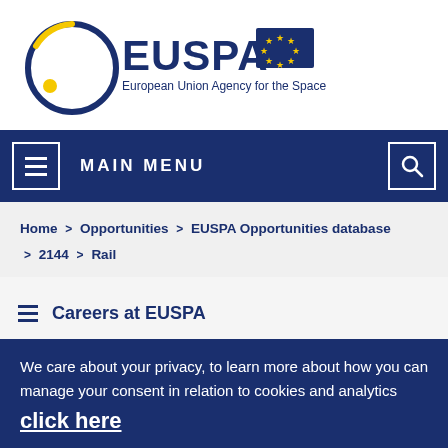[Figure (logo): EUSPA logo — European Union Agency for the Space Programme, circular blue/yellow design with EU flag stars]
MAIN MENU
Home > Opportunities > EUSPA Opportunities database > 2144 > Rail
Careers at EUSPA
We care about your privacy, to learn more about how you can manage your consent in relation to cookies and analytics click here